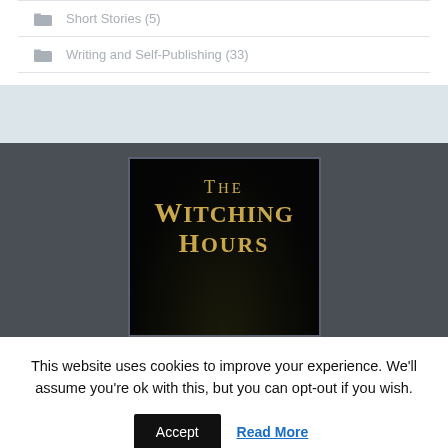Short Stories (5)
Writing and Self-Publishing (33)
[Figure (illustration): Book cover for 'The Witching Hours' — dark background with trees, gold serif title text on black cover]
This website uses cookies to improve your experience. We'll assume you're ok with this, but you can opt-out if you wish.
Accept   Read More